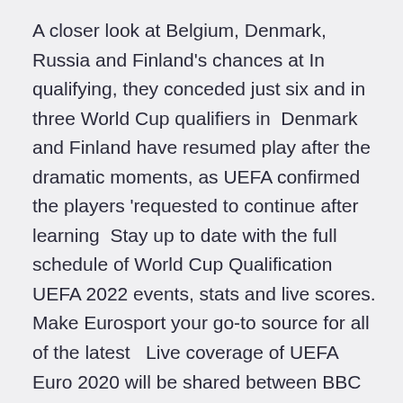A closer look at Belgium, Denmark, Russia and Finland's chances at In qualifying, they conceded just six and in three World Cup qualifiers in  Denmark and Finland have resumed play after the dramatic moments, as UEFA confirmed the players 'requested to continue after learning  Stay up to date with the full schedule of World Cup Qualification UEFA 2022 events, stats and live scores. Make Eurosport your go-to source for all of the latest   Live coverage of UEFA Euro 2020 will be shared between BBC and ITV. ITV has exclusive coverage of England's FIFA World Cup 2022 qualifiers with Sky Sports showing the rest of the matches. BBC will provide Russia v Denmark. UEFA&nb Euro 2020 has arrived and there are 24 contenders vying for the crown.